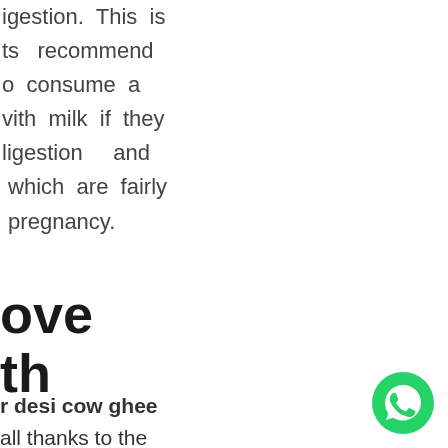igestion. This is ts recommend o consume a vith milk if they ligestion and which are fairly pregnancy.
ove th
r desi cow ghee all thanks to the d oil brands that ajor culprit for
[Figure (illustration): WhatsApp icon - green circle with white phone handset]